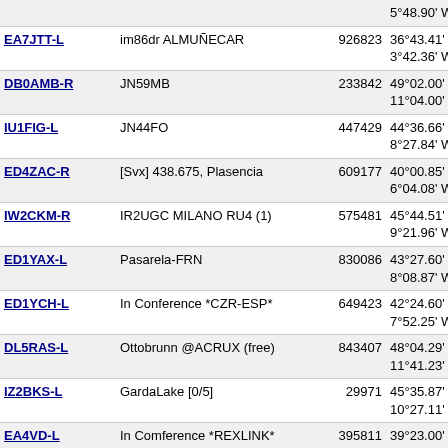| Callsign | Description | Node | Location |
| --- | --- | --- | --- |
| EA7JTT-L | im86dr ALMUÑECAR | 926823 | 36°43.41' N 3°42.36' W IM86... |
| DB0AMB-R | JN59MB | 233842 | 49°02.00' N 11°04.00' W IN49... |
| IU1FIG-L | JN44FO | 447429 | 44°36.66' N 8°27.84' W IN54... |
| ED4ZAC-R | [Svx] 438.675, Plasencia | 609177 | 40°00.85' N 6°04.08' W IN60... |
| IW2CKM-R | IR2UGC MILANO RU4 (1) | 575481 | 45°44.51' N 9°21.96' W IN55... |
| ED1YAX-L | Pasarela-FRN | 830086 | 43°27.60' N 8°08.87' W IN53... |
| ED1YCH-L | In Conference *CZR-ESP* | 649423 | 42°24.60' N 7°52.25' W IN62... |
| DL5RAS-L | Ottobrunn @ACRUX (free) | 843407 | 48°04.29' N 11°41.23' W IN48... |
| IZ2BKS-L | GardaLake [0/5] | 29971 | 45°35.87' N 10°27.11' W IN45... |
| EA4VD-L | In Comference *REXLINK* | 395811 | 39°23.00' N 7°12.00' W IM69... |
| CQ0UP-R | 439.275 T67 LUSO-USA SM | 647558 | 39°18.48' N 7°21.31' W IM69... |
| CS5GPG-L | 434.725 T67 PTG Lusofon | 588370 | 39°18.45' N 7°25.45' W IM69... |
| VY1MGS-L | Whitehorse [0/20] | 900183 | 60°45.92' N 135°07.74' W CP20... |